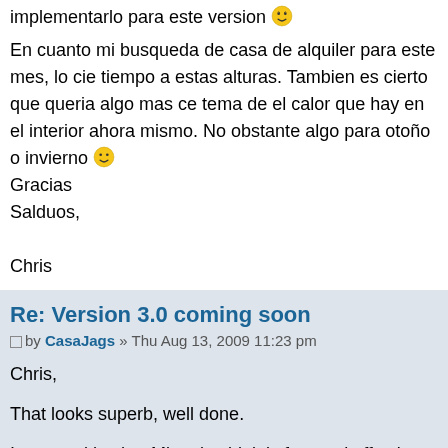implementarlo para este version 😁
En cuanto mi busqueda de casa de alquiler para este mes, lo cie tiempo a estas alturas. Tambien es cierto que queria algo mas ce tema de el calor que hay en el interior ahora mismo. No obstante algo para otoño o invierno 😀
Gracias
Salduos,

Chris
Re: Version 3.0 coming soon
by CasaJags » Thu Aug 13, 2009 11:23 pm
Chris,
That looks superb, well done.
I agree with what Miguel said, it is fast and effective and pretty m section and the ability to be able to create your own booking state what_key(e) function or is this now being superceded because of booking state? I guess it would be very difficult to code the booki